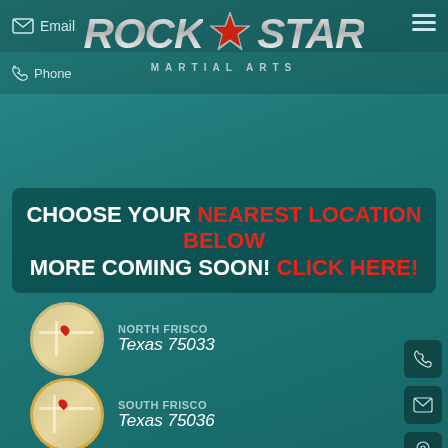[Figure (logo): Rock Star Martial Arts logo with metallic text and red/silver star]
CHOOSE YOUR NEAREST LOCATION BELOW MORE COMING SOON! CLICK HERE!
NORTH FRISCO - Texas 75033
SOUTH FRISCO - Texas 75036
PROSPER/LITTLE ELM - Texas 75078
NORTH PROSPER - Texas 75078
NORTH MCKINNEY - Texas 75071